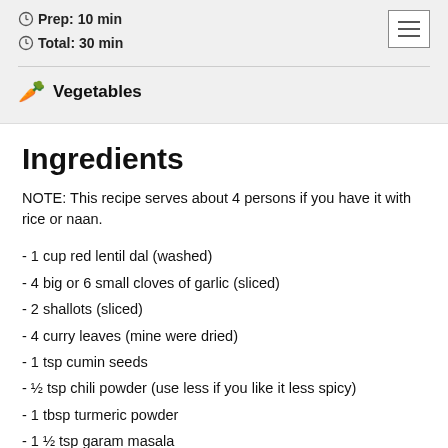Prep: 10 min
Total: 30 min
Vegetables
Ingredients
NOTE: This recipe serves about 4 persons if you have it with rice or naan.
- 1 cup red lentil dal (washed)
- 4 big or 6 small cloves of garlic (sliced)
- 2 shallots (sliced)
- 4 curry leaves (mine were dried)
- 1 tsp cumin seeds
- ½ tsp chili powder (use less if you like it less spicy)
- 1 tbsp turmeric powder
- 1 ½ tsp garam masala